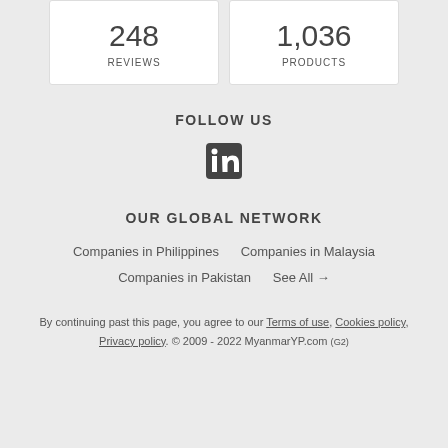| 248
REVIEWS | 1,036
PRODUCTS |
FOLLOW US
[Figure (logo): LinkedIn logo icon (in)]
OUR GLOBAL NETWORK
Companies in Philippines   Companies in Malaysia
Companies in Pakistan   See All →
By continuing past this page, you agree to our Terms of use, Cookies policy, Privacy policy. © 2009 - 2022 MyanmarYP.com (G2)